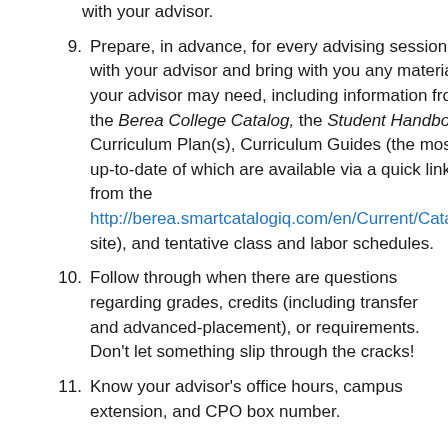with your advisor.
9. Prepare, in advance, for every advising session with your advisor and bring with you any materials your advisor may need, including information from the Berea College Catalog, the Student Handbook, Curriculum Plan(s), Curriculum Guides (the most up-to-date of which are available via a quick link from the http://berea.smartcatalogiq.com/en/Current/Catalog site), and tentative class and labor schedules.
10. Follow through when there are questions regarding grades, credits (including transfer and advanced-placement), or requirements. Don’t let something slip through the cracks!
11. Know your advisor’s office hours, campus extension, and CPO box number.